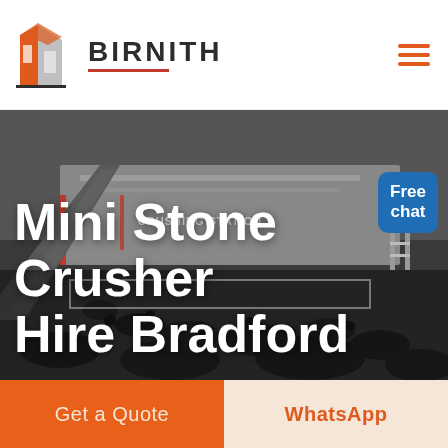[Figure (logo): Birnith company logo: orange and dark stylized building icon with text BIRNITH in bold uppercase, red underline beneath, and orange hamburger menu icon on the right]
[Figure (photo): Industrial mobile stone crushing station with large machinery, conveyor belt, rocks/gravel in foreground, dark moody background]
Mini Stone Crusher Hire Bradford
Free chat
Get a Quote
WhatsApp